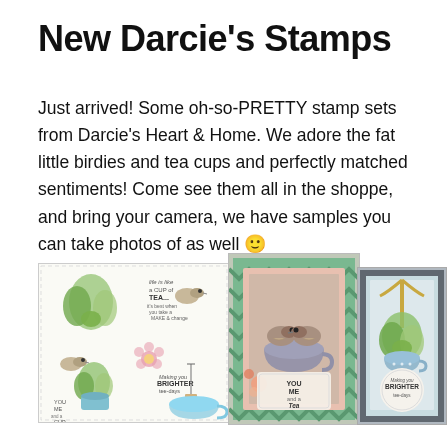New Darcie's Stamps
Just arrived! Some oh-so-PRETTY stamp sets from Darcie's Heart & Home. We adore the fat little birdies and tea cups and perfectly matched sentiments! Come see them all in the shoppe, and bring your camera, we have samples you can take photos of as well 🙂
[Figure (photo): Stamp sheet showing botanical illustrations including succulents, birds, a teacup, a flower, and sentiment text stamps reading 'You Me and a Cup of Tea' and 'Making You Brighter tee-days']
[Figure (photo): Handmade greeting card featuring two birds sitting in a teacup, colorful patterned background, sentiment tag reading 'You Me and a Cup of Tea']
[Figure (photo): Handmade greeting card with succulent plant in a teacup, polka dot background, sentiment circle reading 'Making You Brighter tee-days', gold ribbon bow]